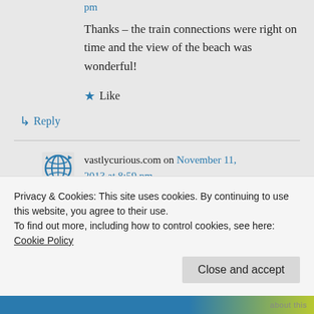pm
Thanks – the train connections were right on time and the view of the beach was wonderful!
★ Like
↳ Reply
vastlycurious.com on November 11, 2013 at 8:59 pm
Privacy & Cookies: This site uses cookies. By continuing to use this website, you agree to their use.
To find out more, including how to control cookies, see here: Cookie Policy
Close and accept